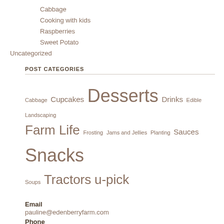Cabbage
Cooking with kids
Raspberries
Sweet Potato
Uncategorized
POST CATEGORIES
Cabbage Cupcakes Desserts Drinks Edible Landscaping Farm Life Frosting Jams and Jellies Planting Sauces Snacks Soups Tractors u-pick
Email
pauline@edenberryfarm.com
Phone
707.917.0183